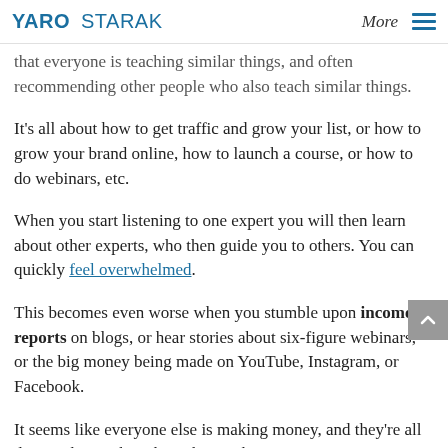YARO STARAK | More
that everyone is teaching similar things, and often recommending other people who also teach similar things.
It's all about how to get traffic and grow your list, or how to grow your brand online, how to launch a course, or how to do webinars, etc.
When you start listening to one expert you will then learn about other experts, who then guide you to others. You can quickly feel overwhelmed.
This becomes even worse when you stumble upon income reports on blogs, or hear stories about six-figure webinars, or the big money being made on YouTube, Instagram, or Facebook.
It seems like everyone else is making money, and they're all doing it by teaching how they make money!